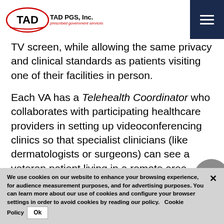TAD PGS, Inc. — prescribed government services
TV screen, while allowing the same privacy and clinical standards as patients visiting one of their facilities in person.
Each VA has a Telehealth Coordinator who collaborates with participating healthcare providers in setting up videoconferencing clinics so that specialist clinicians (like dermatologists or surgeons) can see a veteran patient living in a remote area.
We use cookies on our website to enhance your browsing experience, for audience measurement purposes, and for advertising purposes. You can learn more about our use of cookies and configure your browser settings in order to avoid cookies by reading our policy. Cookie Policy Ok